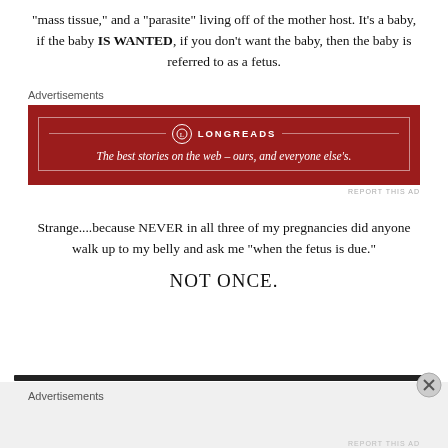“mass tissue,” and a “parasite” living off of the mother host. It’s a baby, if the baby IS WANTED, if you don’t want the baby, then the baby is referred to as a fetus.
[Figure (other): Longreads advertisement banner: dark red background with white border and text 'LONGREADS' and tagline 'The best stories on the web – ours, and everyone else’s.']
Strange....because NEVER in all three of my pregnancies did anyone walk up to my belly and ask me “when the fetus is due.” NOT ONCE.
Advertisements